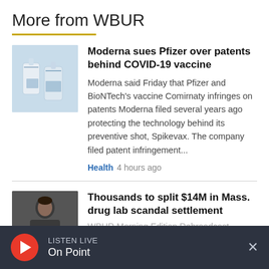More from WBUR
[Figure (photo): Photo of vaccine vials/bottles against a light blue background]
Moderna sues Pfizer over patents behind COVID-19 vaccine
Moderna said Friday that Pfizer and BioNTech's vaccine Comirnaty infringes on patents Moderna filed several years ago protecting the technology behind its preventive shot, Spikevax. The company filed patent infringement...
Health  4 hours ago
[Figure (photo): Photo of a woman in a dark setting]
Thousands to split $14M in Mass. drug lab scandal settlement
WBUR Morning Edition Rebroadcast
LISTEN LIVE
On Point